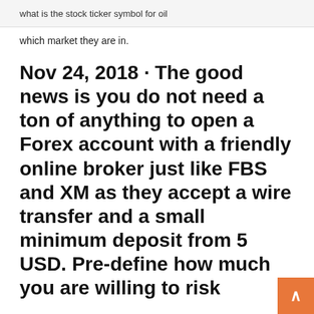what is the stock ticker symbol for oil
which market they are in.
Nov 24, 2018 · The good news is you do not need a ton of anything to open a Forex account with a friendly online broker just like FBS and XM as they accept a wire transfer and a small minimum deposit from 5 USD. Pre-define how much you are willing to risk
The Forex market is no different – in order to start trading currencies, you need to invest a certain sum of money with your broker which is then used to buy and  4 Apr 2019 Forex and trading beginners have many questions. How much do you